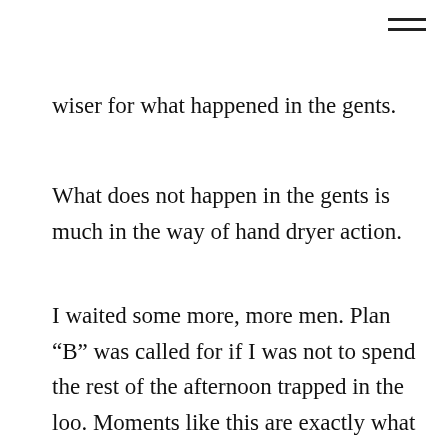≡
wiser for what happened in the gents.
What does not happen in the gents is much in the way of hand dryer action.
I waited some more, more men. Plan “B” was called for if I was not to spend the rest of the afternoon trapped in the loo. Moments like this are exactly what the white cane is for. I would wait for the sound of silence and then emerge, wash